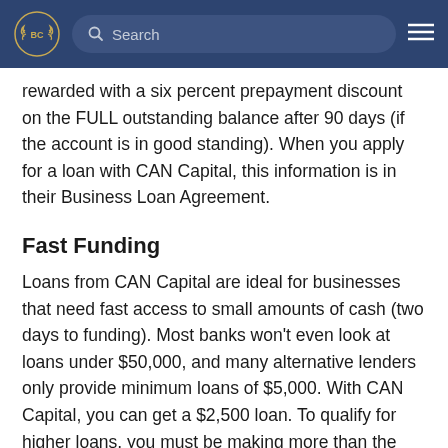BC [logo] Search [hamburger menu]
rewarded with a six percent prepayment discount on the FULL outstanding balance after 90 days (if the account is in good standing). When you apply for a loan with CAN Capital, this information is in their Business Loan Agreement.
Fast Funding
Loans from CAN Capital are ideal for businesses that need fast access to small amounts of cash (two days to funding). Most banks won't even look at loans under $50,000, and many alternative lenders only provide minimum loans of $5,000. With CAN Capital, you can get a $2,500 loan. To qualify for higher loans, you must be making more than the minimum requirement each month.